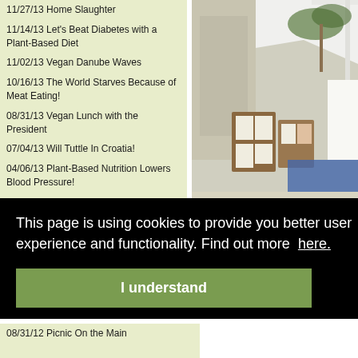11/27/13 Home Slaughter
11/14/13 Let's Beat Diabetes with a Plant-Based Diet
11/02/13 Vegan Danube Waves
10/16/13 The World Starves Because of Meat Eating!
08/31/13 Vegan Lunch with the President
07/04/13 Will Tuttle In Croatia!
04/06/13 Plant-Based Nutrition Lowers Blood Pressure!
03/28/13 Compassionate Easter!
[Figure (photo): Outdoor scene with white canopy tent, palm trees, building wall, and display boards with documents/photos on easels in a plaza or square.]
This page is using cookies to provide you better user experience and functionality. Find out more here.
I understand
08/31/12 Picnic On the Main